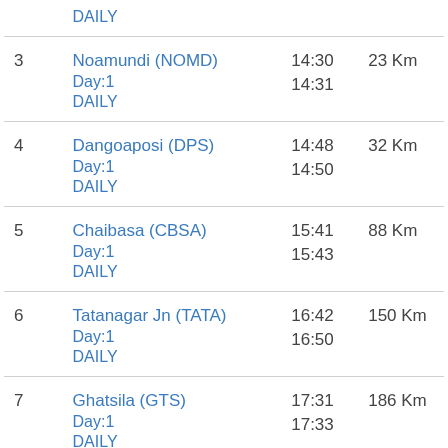| # | Station | Time | Distance |
| --- | --- | --- | --- |
|  | DAILY |  |  |
| 3 | Noamundi (NOMD)
Day:1
DAILY | 14:30
14:31 | 23 Km |
| 4 | Dangoaposi (DPS)
Day:1
DAILY | 14:48
14:50 | 32 Km |
| 5 | Chaibasa (CBSA)
Day:1
DAILY | 15:41
15:43 | 88 Km |
| 6 | Tatanagar Jn (TATA)
Day:1
DAILY | 16:42
16:50 | 150 Km |
| 7 | Ghatsila (GTS)
Day:1
DAILY | 17:31
17:33 | 186 Km |